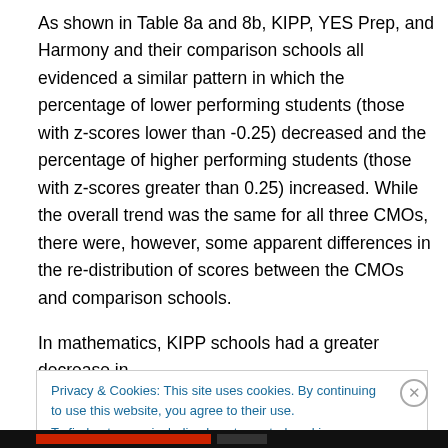As shown in Table 8a and 8b, KIPP, YES Prep, and Harmony and their comparison schools all evidenced a similar pattern in which the percentage of lower performing students (those with z-scores lower than -0.25) decreased and the percentage of higher performing students (those with z-scores greater than 0.25) increased. While the overall trend was the same for all three CMOs, there were, however, some apparent differences in the re-distribution of scores between the CMOs and comparison schools.
In mathematics, KIPP schools had a greater decrease in
Privacy & Cookies: This site uses cookies. By continuing to use this website, you agree to their use.
To find out more, including how to control cookies, see here: Cookie Policy